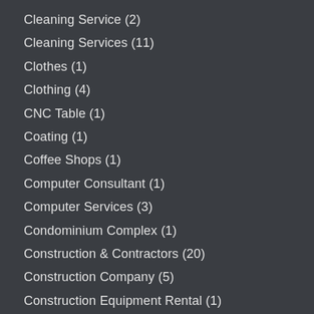Cleaning Service (2)
Cleaning Services (11)
Clothes (1)
Clothing (4)
CNC Table (1)
Coating (1)
Coffee Shops (1)
Computer Consultant (1)
Computer Services (3)
Condominium Complex (1)
Construction & Contractors (20)
Construction Company (5)
Construction Equipment Rental (1)
Construction and Maintenance (2)
Counselor (2)